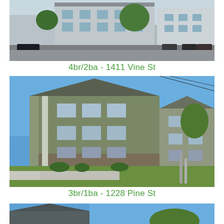[Figure (photo): Exterior photo of a multi-story residential apartment building with grey/blue siding, parking lot with vehicles, and trees in background. 4br/2ba - 1411 Vine St]
4br/2ba - 1411 Vine St
[Figure (photo): Exterior photo of a modern three-story apartment building with grey/green siding and stone base, green lawn, sidewalk, and blue sky. 3br/1ba - 1228 Pine St]
3br/1ba - 1228 Pine St
[Figure (photo): Partial exterior photo of a building rooftop with blue sky, cut off at bottom of page.]